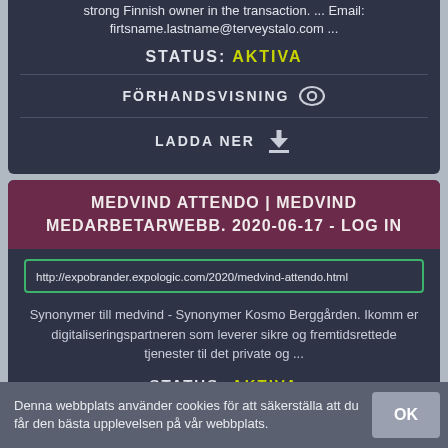strong Finnish owner in the transaction. ... Email: firtsname.lastname@terveystalo.com ...
STATUS: AKTIVA
FÖRHANDSVISNING
LADDA NER
MEDVIND ATTENDO | MEDVIND MEDARBETARWEBB. 2020-06-17 - LOG IN
http://expobrander.expologic.com/2020/medvind-attendo.html
Synonymer till medvind - Synonymer Kosmo Berggården. Ikomm er digitaliseringspartneren som leverer sikre og fremtidsrettede tjenester til det private og ...
STATUS: AKTIVA
Denna webbplats använder cookies för att säkerställa att du får den bästa upplevelsen på vår webbplats.